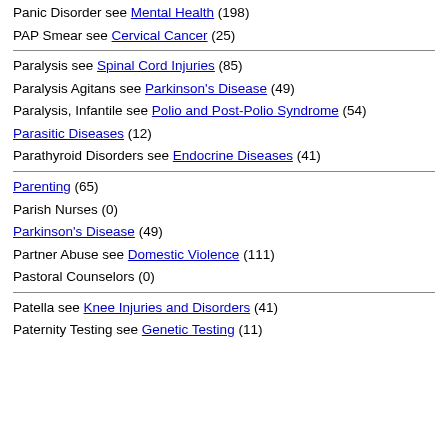Panic Disorder see Mental Health (198)
PAP Smear see Cervical Cancer (25)
Paralysis see Spinal Cord Injuries (85)
Paralysis Agitans see Parkinson's Disease (49)
Paralysis, Infantile see Polio and Post-Polio Syndrome (54)
Parasitic Diseases (12)
Parathyroid Disorders see Endocrine Diseases (41)
Parenting (65)
Parish Nurses (0)
Parkinson's Disease (49)
Partner Abuse see Domestic Violence (111)
Pastoral Counselors (0)
Patella see Knee Injuries and Disorders (41)
Paternity Testing see Genetic Testing (11)